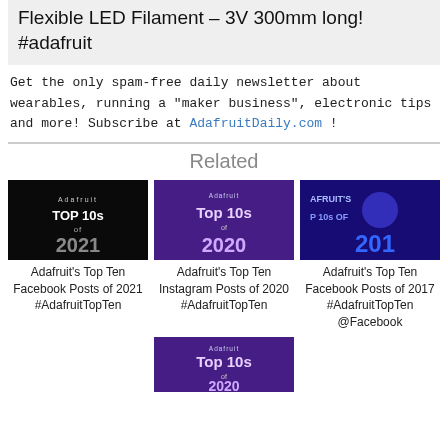Flexible LED Filament – 3V 300mm long! #adafruit
Get the only spam-free daily newsletter about wearables, running a "maker business", electronic tips and more! Subscribe at AdafruitDaily.com !
Related
[Figure (photo): Top 10s of 2021 thumbnail - black background with white text]
Adafruit's Top Ten Facebook Posts of 2021 #AdafruitTopTen
[Figure (photo): Top 10s of 2020 thumbnail - purple background]
Adafruit's Top Ten Instagram Posts of 2020 #AdafruitTopTen
[Figure (photo): Adafruit's Top 10s of 201X - blue/purple background]
Adafruit's Top Ten Facebook Posts of 2017 #AdafruitTopTen @Facebook
[Figure (photo): Top 10s of 2020 thumbnail - purple background (second)]